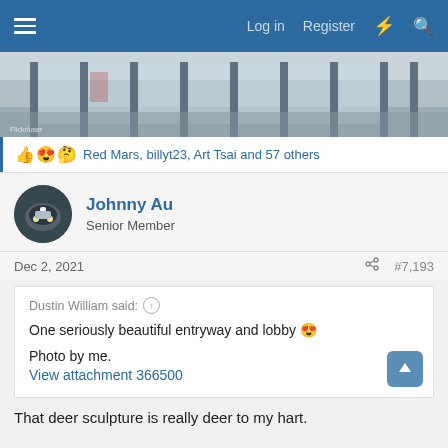Log in  Register
[Figure (photo): Wide banner photo of a modern building lobby entryway with large glass revolving doors and columns, black and white/blue-grey tones.]
👍😍🤩 Red Mars, billyt23, Art Tsai and 57 others
Johnny Au
Senior Member
Dec 2, 2021   #7,193
Dustin William said: ↑

One seriously beautiful entryway and lobby 😍

Photo by me.
View attachment 366500
That deer sculpture is really deer to my hart.